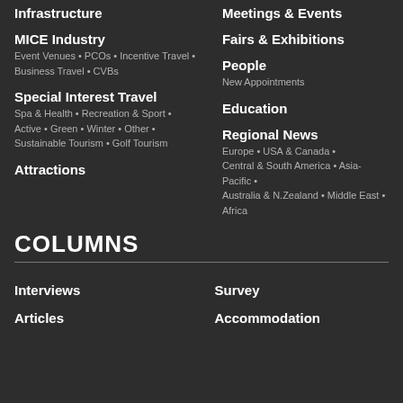Infrastructure
Meetings & Events
MICE Industry
Event Venues • PCOs • Incentive Travel • Business Travel • CVBs
Fairs & Exhibitions
People
New Appointments
Special Interest Travel
Spa & Health • Recreation & Sport • Active • Green • Winter • Other • Sustainable Tourism • Golf Tourism
Education
Regional News
Europe • USA & Canada • Central & South America • Asia-Pacific • Australia & N.Zealand • Middle East • Africa
Attractions
COLUMNS
Interviews
Survey
Articles
Accommodation